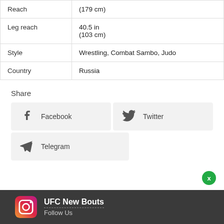| Reach | (179 cm) |
| Leg reach | 40.5 in
(103 cm) |
| Style | Wrestling, Combat Sambo, Judo |
| Country | Russia |
Share
[Figure (infographic): Social share buttons: Facebook, Twitter, Telegram]
UFC New Bouts
Follow Us